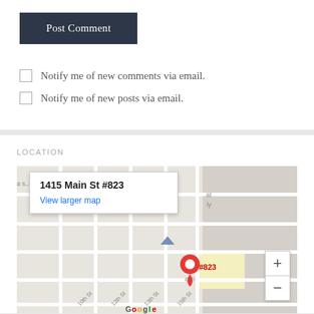Post Comment
Notify me of new comments via email.
Notify me of new posts via email.
LOCATION
[Figure (map): Google Map showing location at 1415 Main St #823 with a red pin marker, street grid visible with 10th St, 12th St, 13th St, 15th St labels, map popup showing address and View larger map link, zoom controls on right side]